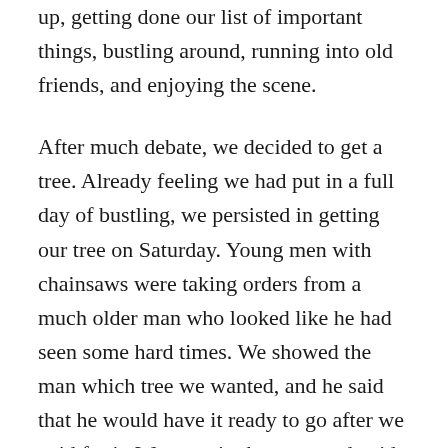up, getting done our list of important things, bustling around, running into old friends, and enjoying the scene.
After much debate, we decided to get a tree. Already feeling we had put in a full day of bustling, we persisted in getting our tree on Saturday. Young men with chainsaws were taking orders from a much older man who looked like he had seen some hard times. We showed the man which tree we wanted, and he said that he would have it ready to go after we paid for it. We went in the store and paid for the tree, got hot dogs on the way out, fetched the car, and drove up to the curb to claim our tree.
The young man helping us was none too happy about it